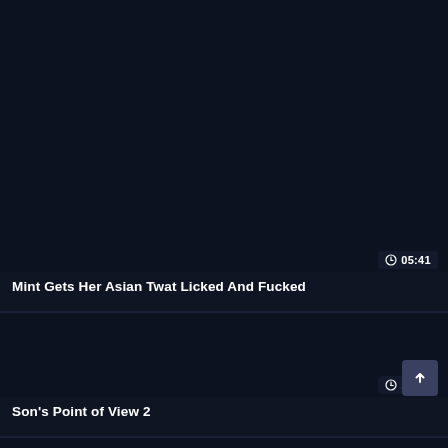[Figure (screenshot): Dark thumbnail area for video card 1]
05:41
Mint Gets Her Asian Twat Licked And Fucked
[Figure (screenshot): Dark thumbnail area for video card 2]
15:51
Son's Point of View 2
[Figure (screenshot): Partial dark thumbnail area for video card 3]